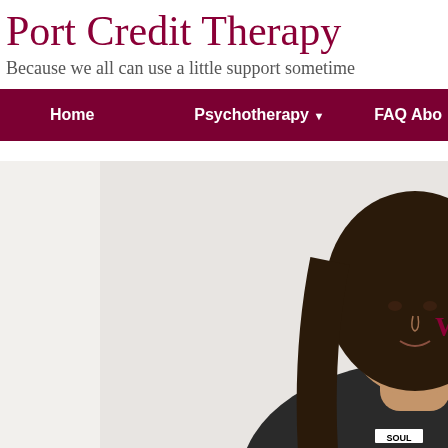Port Credit Therapy
Because we all can use a little support sometime
Home    Psychotherapy ▼    FAQ Abo
[Figure (photo): A woman with long dark hair wearing a black tank top with 'SOUL' written on it, extending her arm which has a tattoo and is wearing a beaded bracelet with a triangular pendant. The photo appears to be a therapist or wellness professional's headshot/promotional photo.]
W